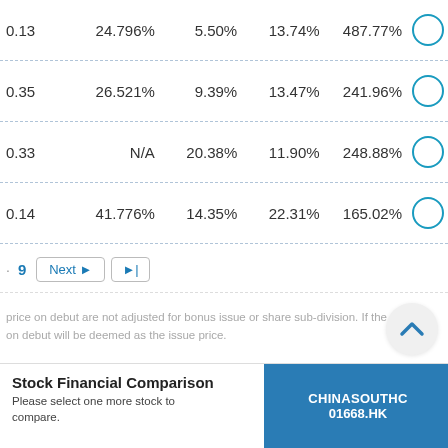| Col1 | Col2 | Col3 | Col4 | Col5 |  |
| --- | --- | --- | --- | --- | --- |
| 0.13 | 24.796% | 5.50% | 13.74% | 487.77% | ○ |
| 0.35 | 26.521% | 9.39% | 13.47% | 241.96% | ○ |
| 0.33 | N/A | 20.38% | 11.90% | 248.88% | ○ |
| 0.14 | 41.776% | 14.35% | 22.31% | 165.02% | ○ |
· 9   Next ►   ►|
price on debut are not adjusted for bonus issue or share sub-division. If the on debut will be deemed as the issue price.
Stock Financial Comparison
Please select one more stock to compare.
CHINASOUTHC
01668.HK